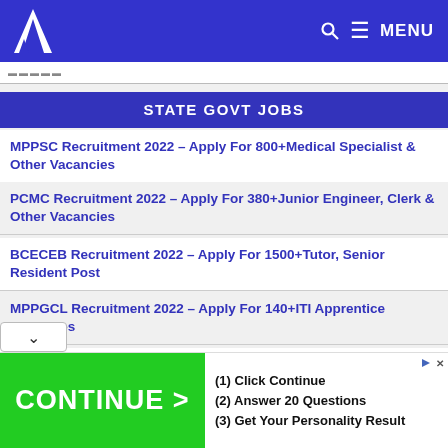A [logo] | MENU
STATE GOVT JOBS
MPPSC Recruitment 2022 – Apply For 800+Medical Specialist & Other Vacancies
PCMC Recruitment 2022 – Apply For 380+Junior Engineer, Clerk & Other Vacancies
BCECEB Recruitment 2022 – Apply For 1500+Tutor, Senior Resident Post
MPPGCL Recruitment 2022 – Apply For 140+ITI Apprentice Vacancies
Karnataka High Court Recruitment 2022 – Apply For [peon] & Other Vacancy
[Figure (screenshot): Advertisement banner with green CONTINUE > button on left, and text: (1) Click Continue, (2) Answer 20 Questions, (3) Get Your Personality Result on right]